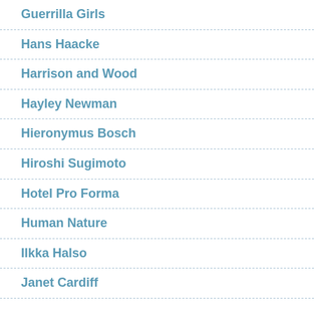Guerrilla Girls
Hans Haacke
Harrison and Wood
Hayley Newman
Hieronymus Bosch
Hiroshi Sugimoto
Hotel Pro Forma
Human Nature
Ilkka Halso
Janet Cardiff